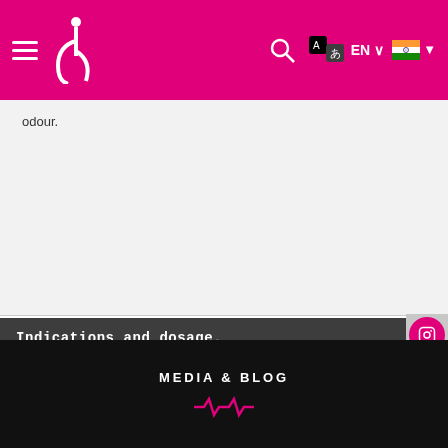Navigation bar with logo, search, translate, EN language selector, India flag
odour.
Indications and dosage.
Side effects and drug interactions.
Warnings and precautions
Overdosage and Contraindications
Clinical pharmacology.
MEDIA & BLOG